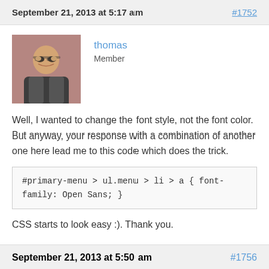September 21, 2013 at 5:17 am  #1752
thomas
Member
Well, I wanted to change the font style, not the font color. But anyway, your response with a combination of another one here lead me to this code which does the trick.
CSS starts to look easy :). Thank you.
September 21, 2013 at 5:50 am  #1756